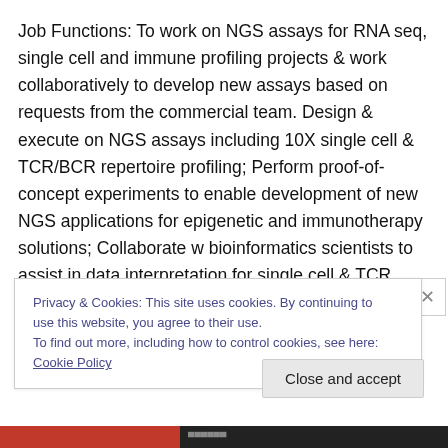Job Functions: To work on NGS assays for RNA seq, single cell and immune profiling projects & work collaboratively to develop new assays based on requests from the commercial team. Design & execute on NGS assays including 10X single cell & TCR/BCR repertoire profiling; Perform proof-of-concept experiments to enable development of new NGS applications for epigenetic and immunotherapy solutions; Collaborate w bioinformatics scientists to assist in data interpretation for single cell & TCR projects & generate presentations & reports for
Privacy & Cookies: This site uses cookies. By continuing to use this website, you agree to their use.
To find out more, including how to control cookies, see here: Cookie Policy
Close and accept